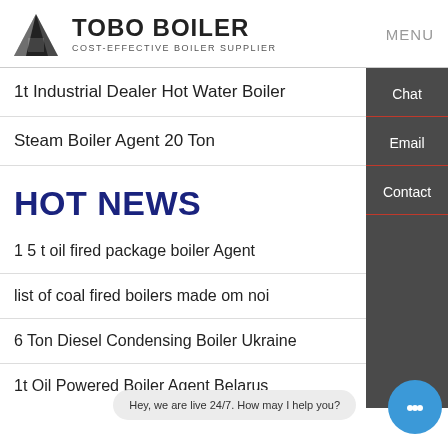TOBO BOILER COST-EFFECTIVE BOILER SUPPLIER | MENU
1t Industrial Dealer Hot Water Boiler
Steam Boiler Agent 20 Ton
HOT NEWS
1 5 t oil fired package boiler Agent
list of coal fired boilers made om noi
6 Ton Diesel Condensing Boiler Ukraine
1t Oil Powered Boiler Agent Belarus
Hey, we are live 24/7. How may I help you?